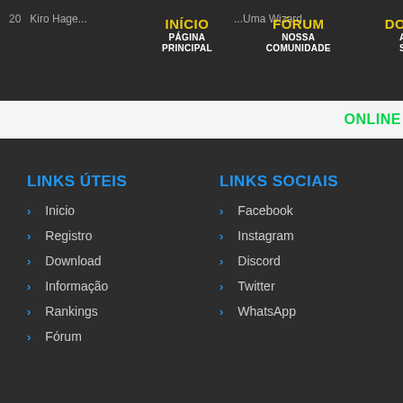20 | Kiro Hage... | ...Uma Wizard | INÍCIO PÁGINA PRINCIPAL | FÓRUM NOSSA COMUNIDADE | DOAÇÕES AJUDE O SERVIDO
ONLINE
LINKS ÚTEIS
Inicio
Registro
Download
Informação
Rankings
Fórum
LINKS SOCIAIS
Facebook
Instagram
Discord
Twitter
WhatsApp